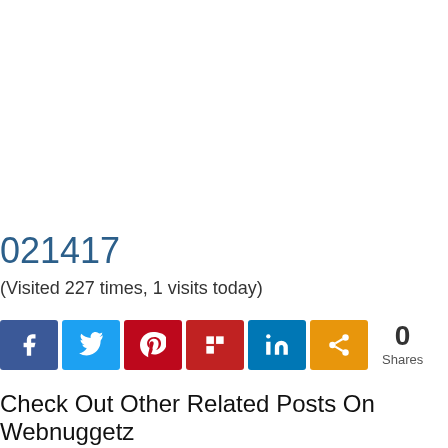021417
(Visited 227 times, 1 visits today)
[Figure (other): Social sharing buttons: Facebook, Twitter, Pinterest, Flipboard, LinkedIn, Share — with 0 Shares count]
Check Out Other Related Posts On Webnuggetz
[Figure (other): Bottom partial image with Sucuri security badge overlay]